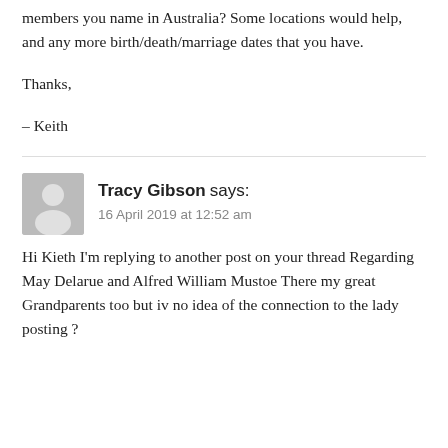members you name in Australia? Some locations would help, and any more birth/death/marriage dates that you have.
Thanks,
– Keith
Tracy Gibson says:
16 April 2019 at 12:52 am
Hi Kieth I'm replying to another post on your thread Regarding May Delarue and Alfred William Mustoe There my great Grandparents too but iv no idea of the connection to the lady posting ?